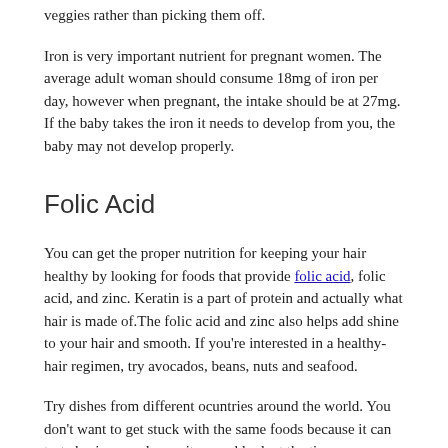veggies rather than picking them off.
Iron is very important nutrient for pregnant women. The average adult woman should consume 18mg of iron per day, however when pregnant, the intake should be at 27mg. If the baby takes the iron it needs to develop from you, the baby may not develop properly.
Folic Acid
You can get the proper nutrition for keeping your hair healthy by looking for foods that provide folic acid, folic acid, and zinc. Keratin is a part of protein and actually what hair is made of.The folic acid and zinc also helps add shine to your hair and smooth. If you're interested in a healthy-hair regimen, try avocados, beans, nuts and seafood.
Try dishes from different ocuntries around the world. You don't want to get stuck with the same foods because it can taste boring; so change it up and look at the time.
Different body types require different levels of nutrition. Sticking to the advice here will help you find the balanced diet that's right for you. After getting into the habit of eating better, you will certainly notice improved health, stamina and energy.